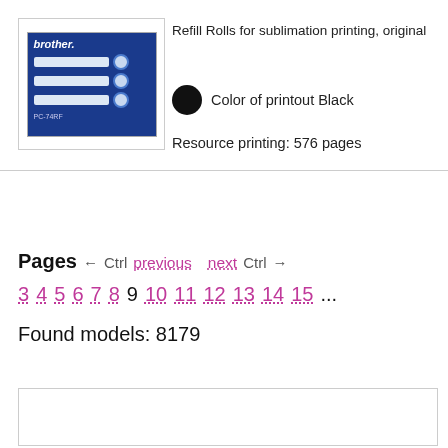[Figure (photo): Brother brand refill rolls product box (PC-74RF), blue packaging with three fax roll cartridges shown]
Refill Rolls for sublimation printing, original
Color of printout Black
Resource printing: 576 pages
Pages  ← Ctrl previous  next Ctrl →
3 4 5 6 7 8 9 10 11 12 13 14 15 ...
Found models: 8179